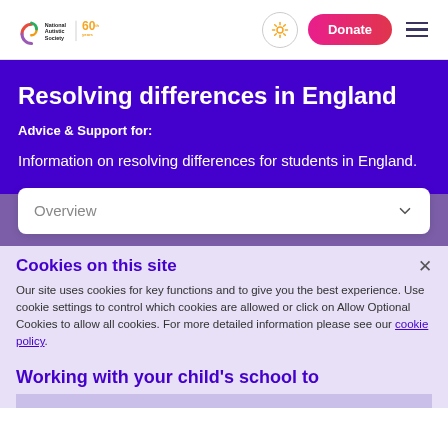National Autistic Society 60 years | Donate
Resolving differences in England
Advice & Support for:
Information on resolving differences for students in England.
Overview
Cookies on this site
Our site uses cookies for key functions and to give you the best experience. Use cookie settings to control which cookies are allowed or click on Allow Optional Cookies to allow all cookies. For more detailed information please see our cookie policy.
Working with your child's school to